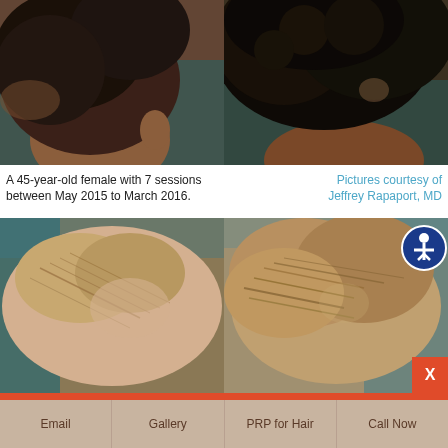[Figure (photo): Before and after photos of a 45-year-old female patient showing hair restoration results between May 2015 and March 2016. Two side-by-side images showing side/back view of head with dark curly hair.]
A 45-year-old female with 7 sessions between May 2015 to March 2016.
Pictures courtesy of Jeffrey Rapaport, MD
[Figure (photo): Before and after photos of a patient showing hair restoration results. Two side-by-side images showing top/back view of head with blonde thinning hair improving to fuller hair. Accessibility icon in top right corner. X close button in bottom right.]
Which 'HAIR THINNING' Treatment Is Right For Your Specific Hair Type?
Start Quiz
Email
Gallery
PRP for Hair
Call Now